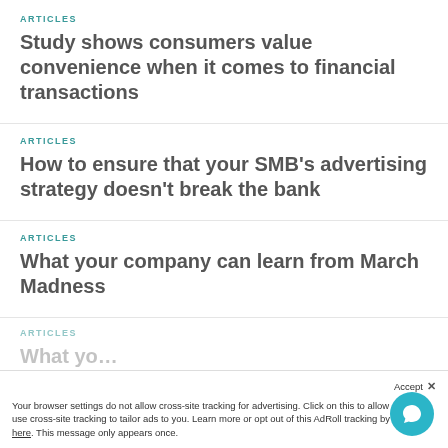ARTICLES
Study shows consumers value convenience when it comes to financial transactions
ARTICLES
How to ensure that your SMB's advertising strategy doesn't break the bank
ARTICLES
What your company can learn from March Madness
ARTICLES
Accept
Your browser settings do not allow cross-site tracking for advertising. Click on this to allow AdRoll to use cross-site tracking to tailor ads to you. Learn more or opt out of this AdRoll tracking by clicking here. This message only appears once.